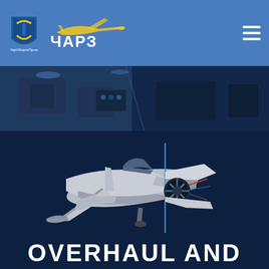[Figure (logo): UkrOboronProm shield logo (blue with yellow/blue colors) and ЧАРЗ aircraft silhouette logo in yellow/white on blue header bar]
[Figure (photo): Workshop/hangar interior photo strip showing aircraft maintenance equipment in dark blue tones]
[Figure (photo): Military jet trainer aircraft shown in split view — left side assembled exterior (silver/grey), right side with nose cone open revealing internal engine components, floating on deep blue background]
OVERHAUL AND